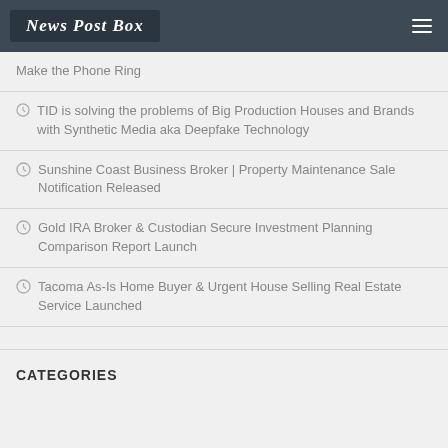News Post Box
Make the Phone Ring
TID is solving the problems of Big Production Houses and Brands with Synthetic Media aka Deepfake Technology
Sunshine Coast Business Broker | Property Maintenance Sale Notification Released
Gold IRA Broker & Custodian Secure Investment Planning Comparison Report Launch
Tacoma As-Is Home Buyer & Urgent House Selling Real Estate Service Launched
CATEGORIES